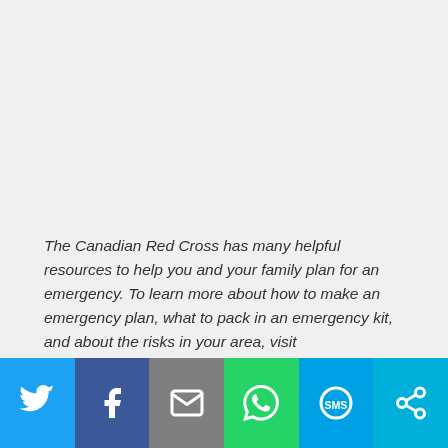The Canadian Red Cross has many helpful resources to help you and your family plan for an emergency. To learn more about how to make an emergency plan, what to pack in an emergency kit, and about the risks in your area, visit redcross.ca/prepare
Sharing is caring!
[Figure (other): Social sharing bar with six buttons: Twitter (blue), Facebook (dark blue), Email (grey), WhatsApp (green), SMS (light blue), More/share (cyan). Each shows a white icon.]